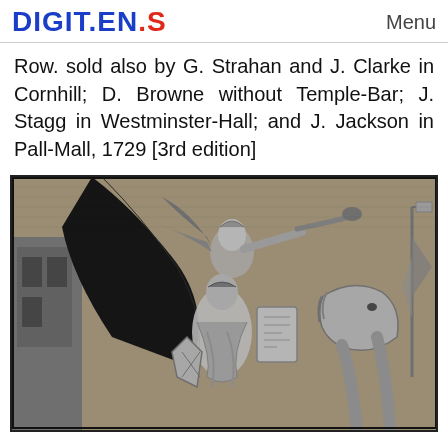DIGIT.EN.S   Menu
Row. sold also by G. Strahan and J. Clarke in Cornhill; D. Browne without Temple-Bar; J. Stagg in Westminster-Hall; and J. Jackson in Pall-Mall, 1729 [3rd edition]
[Figure (illustration): Black and white engraving depicting a classical allegorical scene with a winged figure blowing a trumpet, a woman in robes, and a horse, likely from an 18th-century book frontispiece.]